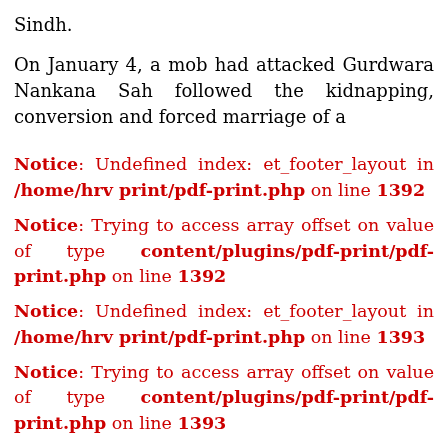Sindh.
On January 4, a mob had attacked Gurdwara Nankana Sah followed the kidnapping, conversion and forced marriage of a
Notice: Undefined index: et_footer_layout in /home/hrv print/pdf-print.php on line 1392
Notice: Trying to access array offset on value of type content/plugins/pdf-print/pdf-print.php on line 1392
Notice: Undefined index: et_footer_layout in /home/hrv print/pdf-print.php on line 1393
Notice: Trying to access array offset on value of type content/plugins/pdf-print/pdf-print.php on line 1393
Notice: Undefined index: et_template in /home/hrv print/pdf-print.php on line 1394